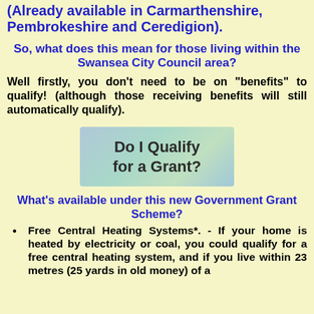(Already available in Carmarthenshire, Pembrokeshire and Ceredigion).
So, what does this mean for those living within the Swansea City Council area?
Well firstly, you don't need to be on "benefits" to qualify! (although those receiving benefits will still automatically qualify).
[Figure (other): Button graphic with gradient blue-green background reading 'Do I Qualify for a Grant?']
What's available under this new Government Grant Scheme?
Free Central Heating Systems*. - If your home is heated by electricity or coal, you could qualify for a free central heating system, and if you live within 23 metres (25 yards in old money) of a